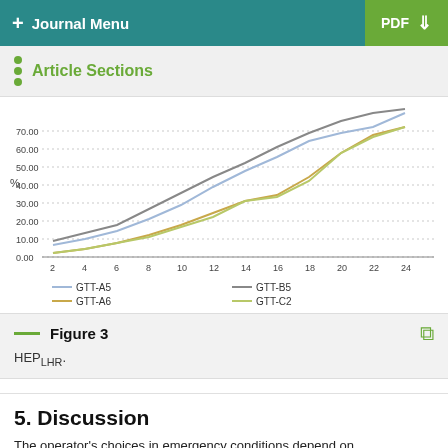+ Journal Menu   PDF ↓
Article Sections
[Figure (line-chart): ]
Figure 3
HEP_LHR.
5. Discussion
The operator's choices in emergency conditions depend on